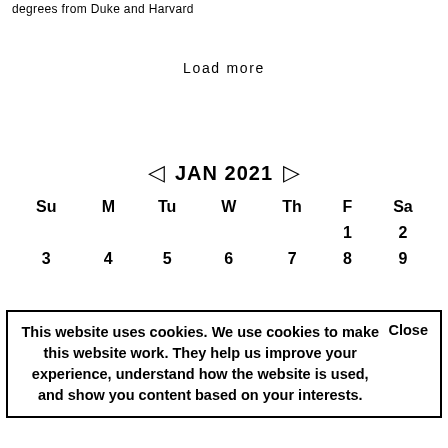degrees from Duke and Harvard
Load more
[Figure (other): Calendar for JAN 2021 showing navigation arrows, day headers Su M Tu W Th F Sa, and dates row 1-2, row 3-9]
This website uses cookies. We use cookies to make this website work. They help us improve your experience, understand how the website is used, and show you content based on your interests. Close